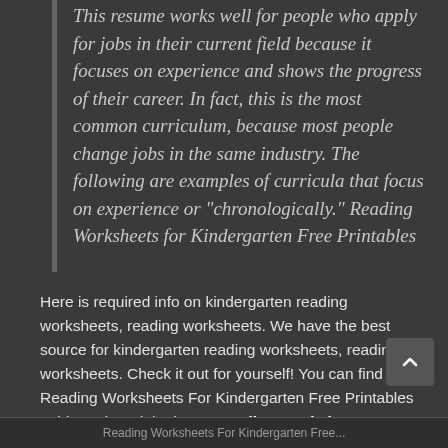This resume works well for people who apply for jobs in their current field because it focuses on experience and shows the progress of their career. In fact, this is the most common curriculum, because most people change jobs in the same industry. The following are examples of curricula that focus on experience or "chronologically." Reading Worksheets for Kindergarten Free Printables
Here is required info on kindergarten reading worksheets, reading worksheets. We have the best source for kindergarten reading worksheets, reading worksheets. Check it out for yourself! You can find Reading Worksheets For Kindergarten Free Printables guide and read the latest Reading Worksheets For Kindergarten Free Printables.
Reading Worksheets For Kindergarten Free...